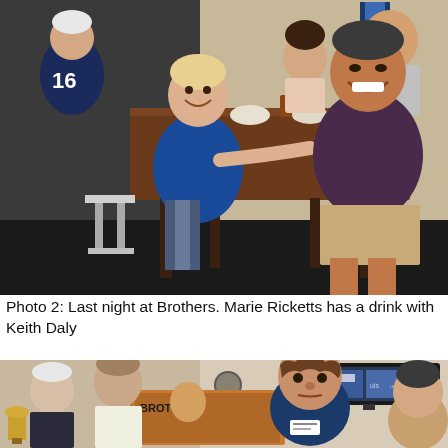[Figure (photo): Group of people sitting around a table at a venue called Brothers, having drinks and food. A person wearing a jersey with number 16 is visible on the left. A woman in blue is smiling at the camera. Across the table, a man in a dark purple/maroon t-shirt is smiling broadly.]
Photo 2: Last night at Brothers. Marie Ricketts has a drink with Keith Daly
[Figure (photo): Interior of a club/pub (Brothers) with several people gathered. A man with curly hair wearing a navy polo shirt is prominent in the center-right. A flat-screen TV is mounted on the wall in the background. A club logo/poster is visible on the wall. Several older men are gathered on the left side.]